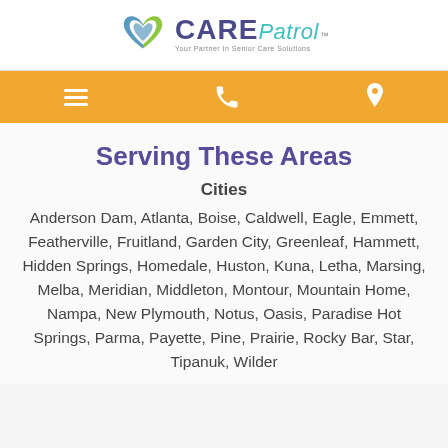[Figure (logo): CarePatrol logo — heart shape in blue and green with CARE in dark purple bold, Patrol in teal italic, tagline 'Your Partner In Senior Care Solutions']
[Figure (infographic): Golden/orange navigation bar with three white icons: hamburger menu (three lines), phone handset, and location pin]
Serving These Areas
Cities
Anderson Dam, Atlanta, Boise, Caldwell, Eagle, Emmett, Featherville, Fruitland, Garden City, Greenleaf, Hammett, Hidden Springs, Homedale, Huston, Kuna, Letha, Marsing, Melba, Meridian, Middleton, Montour, Mountain Home, Nampa, New Plymouth, Notus, Oasis, Paradise Hot Springs, Parma, Payette, Pine, Prairie, Rocky Bar, Star, Tipanuk, Wilder